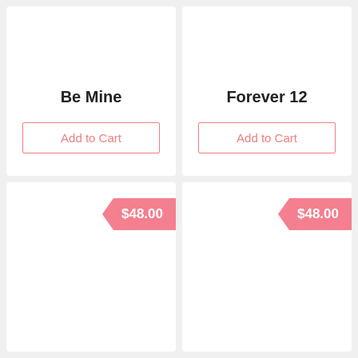Be Mine
Add to Cart
Forever 12
Add to Cart
$48.00
$48.00